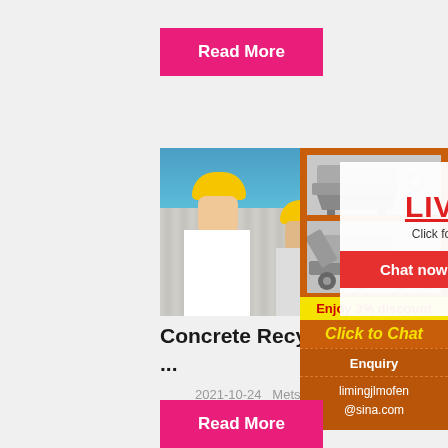Read More
[Figure (photo): Three workers in yellow hard hats at a construction/industrial site with corrugated metal structures and blue sky. A live chat popup overlay says LIVE CHAT / Click for a Free Consultation with Chat now and Chat later buttons.]
Concrete Recycling Crushers For Gravel And ...
2021-10-24   Metso concrete crusher, co...
[Figure (infographic): Orange sidebar with two crusher/mining machine images, a yellow Enjoy 3% discount bar, Click to Chat in yellow italic text, Enquiry label with dashed border, and limingjlmofen@sina.com contact info.]
Read More